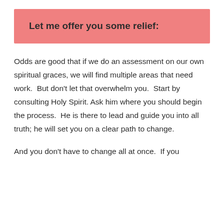Let me offer you some relief:
Odds are good that if we do an assessment on our own spiritual graces, we will find multiple areas that need work.  But don't let that overwhelm you.  Start by consulting Holy Spirit.  Ask him where you should begin the process.  He is there to lead and guide you into all truth; he will set you on a clear path to change.
And you don't have to change all at once.  If you